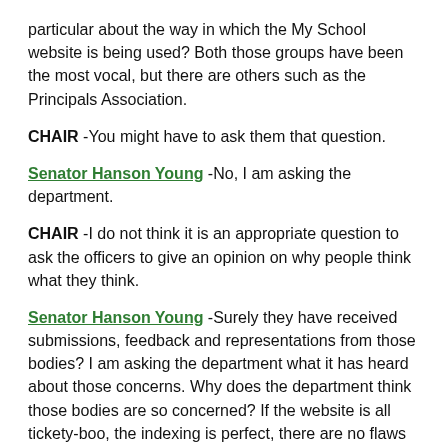particular about the way in which the My School website is being used? Both those groups have been the most vocal, but there are others such as the Principals Association.
CHAIR -You might have to ask them that question.
Senator Hanson Young -No, I am asking the department.
CHAIR -I do not think it is an appropriate question to ask the officers to give an opinion on why people think what they think.
Senator Hanson Young -Surely they have received submissions, feedback and representations from those bodies? I am asking the department what it has heard about those concerns. Why does the department think those bodies are so concerned? If the website is all tickety-boo, the indexing is perfect, there are no flaws and the statistically similar language, as opposed to the like-schools language, has resolved the issues of